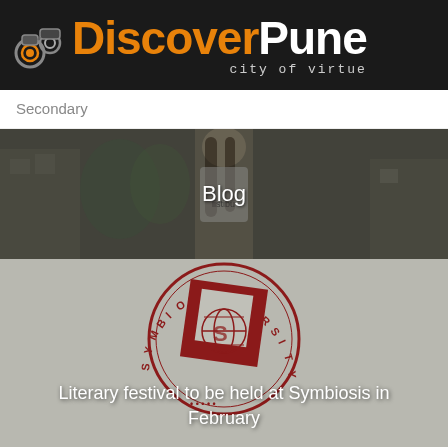[Figure (logo): Discover Pune logo with orange and white text on black background, camera/binoculars icon on left, tagline 'city of virtue' in monospace]
Secondary
[Figure (photo): Blog hero banner with dark overlay showing a young woman in a white t-shirt on a street, with 'Blog' text centered]
[Figure (photo): Symbiosis International University seal/logo on grey background with text 'Literary festival to be held at Symbiosis in February']